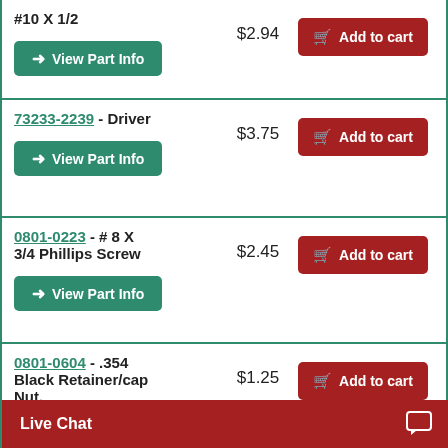| Product | Price | Action |
| --- | --- | --- |
| #10 X 1/2 | $2.94 | Add to cart |
| 73233-2239 - Driver | $3.75 | Add to cart |
| 0801-0223 - # 8 X 3/4 Phillips Screw | $2.45 | Add to cart |
| 0801-0604 - .354 Black Retainer/cap Nut. | $1.25 | Add to cart |
Live Chat